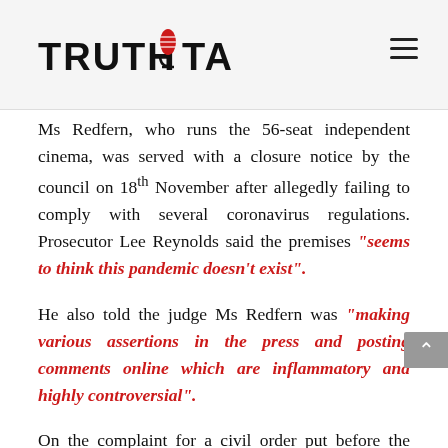TRUTH TALK (logo with hamburger menu)
Ms Redfern, who runs the 56-seat independent cinema, was served with a closure notice by the council on 18th November after allegedly failing to comply with several coronavirus regulations. Prosecutor Lee Reynolds said the premises "seems to think this pandemic doesn't exist".
He also told the judge Ms Redfern was "making various assertions in the press and posting comments online which are inflammatory and highly controversial".
On the complaint for a civil order put before the court, the council asserted that Cinema & Co had not completed a Covid risk assessment and had not informed the staff of the measures required to prevent transmission of the disease. However, this makes no sense as even fully vaccinated individuals can be carrying a whole range of viruses at any time.